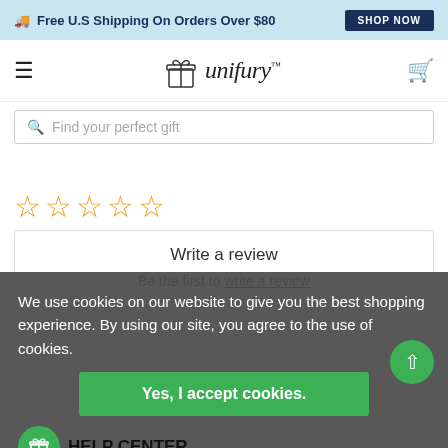Free U.S Shipping On Orders Over $80  SHOP NOW
[Figure (logo): Unifury logo with gift box icon and brand name in italic serif font]
Find your perfect gift
[Figure (other): Five empty star rating icons in gold/orange outline]
Write a review
Be the first to write a review
We use cookies on our website to give you the best shopping experience. By using our site, you agree to the use of cookies.
Yes, I accept cookies.
HELP CENTER
FAQs